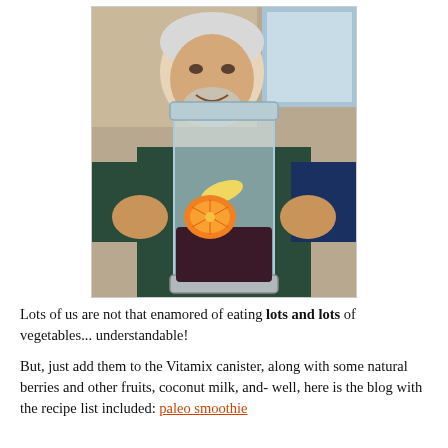[Figure (photo): An older man with white hair and beard smiling, holding up a large Vitamix blender canister containing fruits including an orange slice and banana, in a kitchen setting.]
Lots of us are not that enamored of eating lots and lots of vegetables... understandable!
But, just add them to the Vitamix canister, along with some natural berries and other fruits, coconut milk, and- well, here is the blog with the recipe list included: paleo smoothie